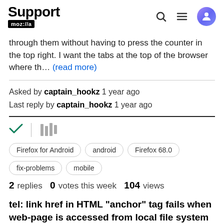Support mozilla://a
through them without having to press the counter in the top right. I want the tabs at the top of the browser where th… (read more)
Asked by captain_hookz 1 year ago
Last reply by captain_hookz 1 year ago
[Figure (other): Check mark icon and library/bookmark icon]
Firefox for Android   android   Firefox 68.0   fix-problems   mobile
2 replies   0 votes this week   104 views
tel: link href in HTML "anchor" tag fails when web-page is accessed from local file system via file://